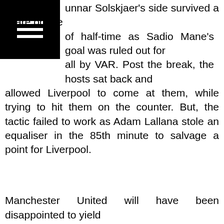unnar Solskjaer's side survived a scare on the of half-time as Sadio Mane's goal was ruled out for all by VAR. Post the break, the hosts sat back and allowed Liverpool to come at them, while trying to hit them on the counter. But, the tactic failed to work as Adam Lallana stole an equaliser in the 85th minute to salvage a point for Liverpool.
Manchester United will have been disappointed to yield